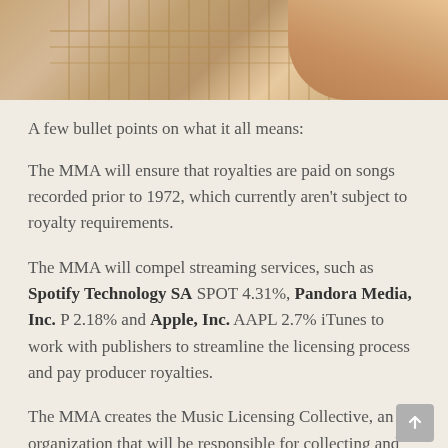[Figure (photo): Close-up photo of a guitar fretboard with sheet music in the background, and a hand visible in the upper right corner.]
A few bullet points on what it all means:
The MMA will ensure that royalties are paid on songs recorded prior to 1972, which currently aren’t subject to royalty requirements.
The MMA will compel streaming services, such as Spotify Technology SA SPOT 4.31%, Pandora Media, Inc. P 2.18% and Apple, Inc. AAPL 2.7% iTunes to work with publishers to streamline the licensing process and pay producer royalties.
The MMA creates the Music Licensing Collective, an organization that will be responsible for collecting and distributing royalty payments starting in 2021.